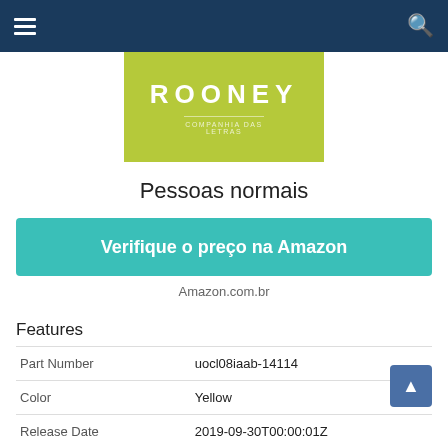Navigation bar with hamburger menu and search icon
[Figure (illustration): Book cover for 'Rooney' by Companhia das Letras, olive/yellow-green background with white bold title text and publisher logo]
Pessoas normais
Verifique o preço na Amazon
Amazon.com.br
Features
| Part Number | uocl08iaab-14114 |
| Color | Yellow |
| Release Date | 2019-09-30T00:00:01Z |
| Edition | 1ª |